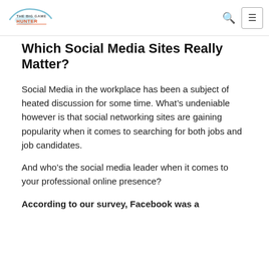The Big Game Hunter [logo] [search icon] [menu icon]
Which Social Media Sites Really Matter?
Social Media in the workplace has been a subject of heated discussion for some time. What’s undeniable however is that social networking sites are gaining popularity when it comes to searching for both jobs and job candidates.
And who’s the social media leader when it comes to your professional online presence?
According to our survey, Facebook was a